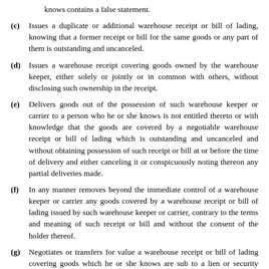knows contains a false statement.
(c) Issues a duplicate or additional warehouse receipt or bill of lading, knowing that a former receipt or bill for the same goods or any part of them is outstanding and uncanceled.
(d) Issues a warehouse receipt covering goods owned by the warehouse keeper, either solely or jointly or in common with others, without disclosing such ownership in the receipt.
(e) Delivers goods out of the possession of such warehouse keeper or carrier to a person who he or she knows is not entitled thereto or with knowledge that the goods are covered by a negotiable warehouse receipt or bill of lading which is outstanding and uncanceled and without obtaining possession of such receipt or bill at or before the time of delivery and either canceling it or conspicuously noting thereon any partial deliveries made.
(f) In any manner removes beyond the immediate control of a warehouse keeper or carrier any goods covered by a warehouse receipt or bill of lading issued by such warehouse keeper or carrier, contrary to the terms and meaning of such receipt or bill and without the consent of the holder thereof.
(g) Negotiates or transfers for value a warehouse receipt or bill of lading covering goods which he or she knows are sub- to a lien or security interest, other than the warehouse